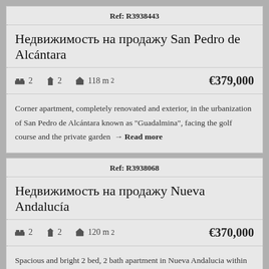Ref: R3938443
Недвижимость на продажу San Pedro de Alcántara
🛏 2   🔧 2   🏠 118 m²   €379,000
Corner apartment, completely renovated and exterior, in the urbanization of San Pedro de Alcántara known as "Guadalmina", facing the golf course and the private garden → Read more
Ref: R3938068
Недвижимость на продажу Nueva Andalucía
🛏 2   🔧 2   🏠 120 m²   €370,000
Spacious and bright 2 bed, 2 bath apartment in Nueva Andalucia within walking distance to Centro Plaza and Puerto Banus.